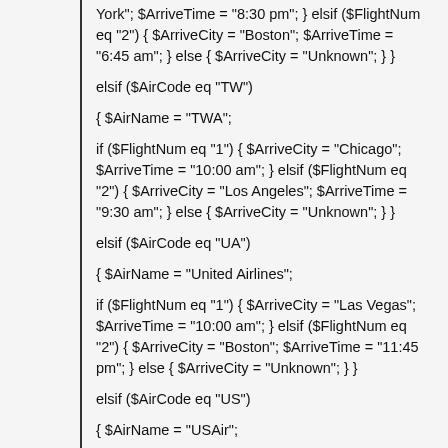York"; $ArriveTime = "8:30 pm"; } elsif ($FlightNum eq "2") { $ArriveCity = "Boston"; $ArriveTime = "6:45 am"; } else { $ArriveCity = "Unknown"; } }
elsif ($AirCode eq "TW")
{ $AirName = "TWA";
if ($FlightNum eq "1") { $ArriveCity = "Chicago"; $ArriveTime = "10:00 am"; } elsif ($FlightNum eq "2") { $ArriveCity = "Los Angeles"; $ArriveTime = "9:30 am"; } else { $ArriveCity = "Unknown"; } }
elsif ($AirCode eq "UA")
{ $AirName = "United Airlines";
if ($FlightNum eq "1") { $ArriveCity = "Las Vegas"; $ArriveTime = "10:00 am"; } elsif ($FlightNum eq "2") { $ArriveCity = "Boston"; $ArriveTime = "11:45 pm"; } else { $ArriveCity = "Unknown"; } }
elsif ($AirCode eq "US")
{ $AirName = "USAir";
if ($FlightNum eq "1") { $ArriveCity = "New